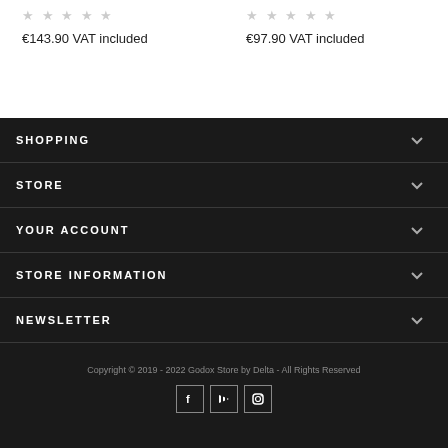★★★★★ (stars) €143.90 VAT included
★★★★★ (stars) €97.90 VAT included
SHOPPING
STORE
YOUR ACCOUNT
STORE INFORMATION
NEWSLETTER
Copyright © 2019 - 2022 Godox Store by Delta - All Rights Reserved
[Figure (illustration): Social media icons: Facebook, YouTube, Instagram]